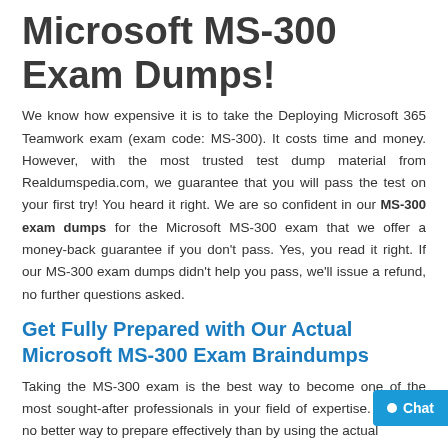Microsoft MS-300 Exam Dumps!
We know how expensive it is to take the Deploying Microsoft 365 Teamwork exam (exam code: MS-300). It costs time and money. However, with the most trusted test dump material from Realdumspedia.com, we guarantee that you will pass the test on your first try! You heard it right. We are so confident in our MS-300 exam dumps for the Microsoft MS-300 exam that we offer a money-back guarantee if you don't pass. Yes, you read it right. If our MS-300 exam dumps didn't help you pass, we'll issue a refund, no further questions asked.
Get Fully Prepared with Our Actual Microsoft MS-300 Exam Braindumps
Taking the MS-300 exam is the best way to become one of the most sought-after professionals in your field of expertise. There is no better way to prepare effectively than by using the actual